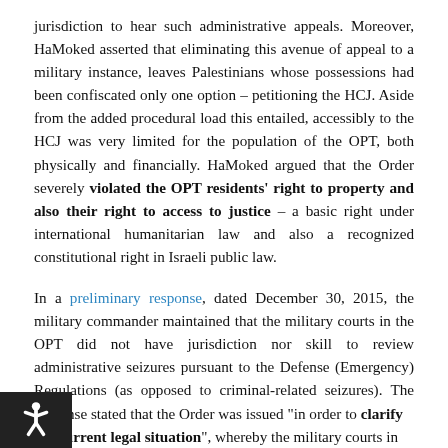jurisdiction to hear such administrative appeals. Moreover, HaMoked asserted that eliminating this avenue of appeal to a military instance, leaves Palestinians whose possessions had been confiscated only one option – petitioning the HCJ. Aside from the added procedural load this entailed, accessibly to the HCJ was very limited for the population of the OPT, both physically and financially. HaMoked argued that the Order severely violated the OPT residents' right to property and also their right to access to justice – a basic right under international humanitarian law and also a recognized constitutional right in Israeli public law.
In a preliminary response, dated December 30, 2015, the military commander maintained that the military courts in the OPT did not have jurisdiction nor skill to review administrative seizures pursuant to the Defense (Emergency) Regulations (as opposed to criminal-related seizures). The response stated that the Order was issued "in order to clarify the current legal situation", whereby the military courts in